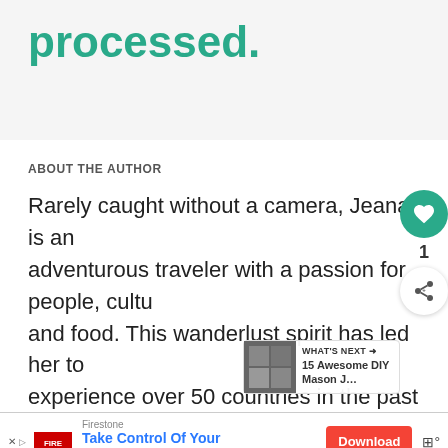processed.
ABOUT THE AUTHOR
Rarely caught without a camera, Jeana is an adventurous traveler with a passion for people, cultures and food. This wanderlust spirit has led her to experience over 50 countries in the past 7 years!
When she's not out gallivanting around the globe using her powers for social good, she enjoys sewing, photography, gardening, cooking and building LEGOs with